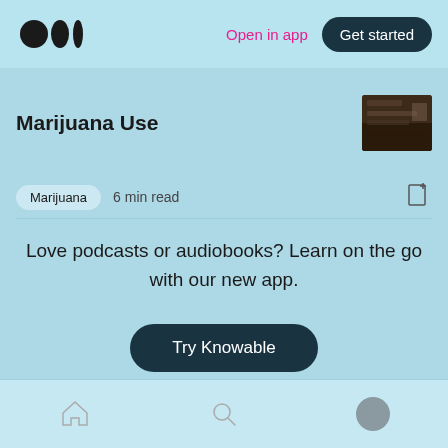Open in app  Get started
Marijuana Use
Marijuana  6 min read
Love podcasts or audiobooks? Learn on the go with our new app.
Try Knowable